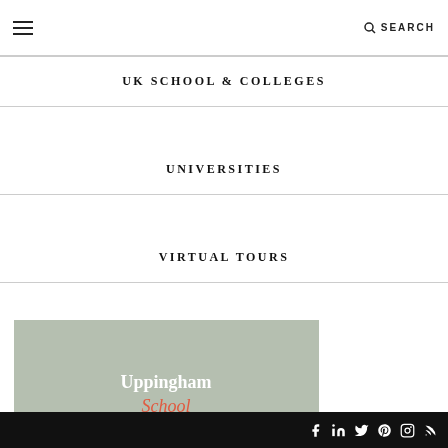☰  SEARCH
UK SCHOOL & COLLEGES
UNIVERSITIES
VIRTUAL TOURS
[Figure (photo): Uppingham School promotional image showing students seated on a hillside with green countryside in the background, overlaid with white text 'Uppingham School' and red italic 'School', and banner text 'FOR THE PATHFINDERS' with red horizontal lines]
Social media icons: Facebook, LinkedIn, Twitter, Pinterest, Instagram, RSS